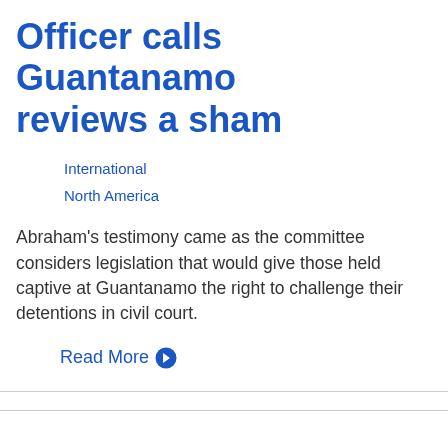Officer calls Guantanamo reviews a sham
International
North America
Abraham's testimony came as the committee considers legislation that would give those held captive at Guantanamo the right to challenge their detentions in civil court.
Read More →